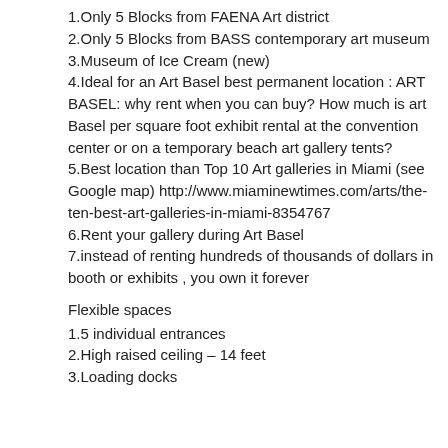1.Only 5 Blocks from FAENA Art district
2.Only 5 Blocks from BASS contemporary art museum
3.Museum of Ice Cream (new)
4.Ideal for an Art Basel best permanent location : ART BASEL: why rent when you can buy? How much is art Basel per square foot exhibit rental at the convention center or on a temporary beach art gallery tents?
5.Best location than Top 10 Art galleries in Miami (see Google map) http://www.miaminewtimes.com/arts/the-ten-best-art-galleries-in-miami-8354767
6.Rent your gallery during Art Basel
7.instead of renting hundreds of thousands of dollars in booth or exhibits , you own it forever
Flexible spaces
1.5 individual entrances
2.High raised ceiling – 14 feet
3.Loading docks